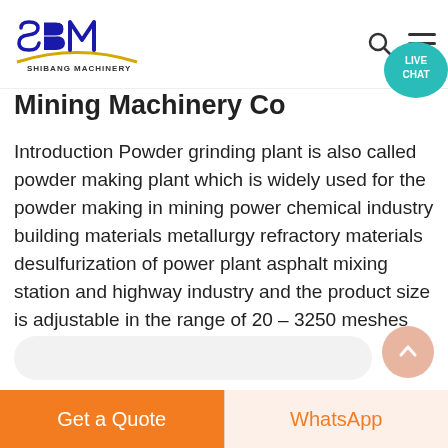[Figure (logo): SBM Shibang Machinery logo with blue letters and gold arc, with search and hamburger menu icons and a teal Live Chat bubble on the right]
Mining Machinery Co
Introduction Powder grinding plant is also called powder making plant which is widely used for the powder making in mining power chemical industry building materials metallurgy refractory materials desulfurization of power plant asphalt mixing station and highway industry and the product size is adjustable in the range of 20 – 3250 meshes